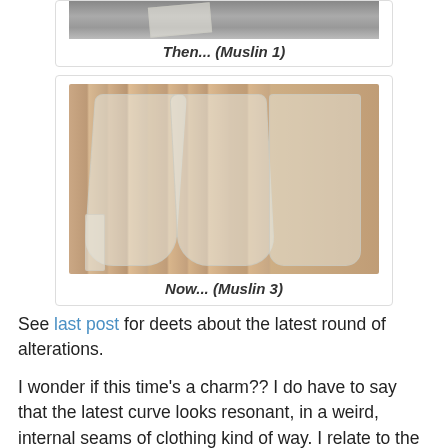[Figure (photo): Top portion of a photo showing fabric/muslin pieces on a wooden floor, partially visible at top of page]
Then... (Muslin 1)
[Figure (photo): Photo of muslin pants pattern pieces laid flat on a wooden floor, showing front and back pattern pieces]
Now... (Muslin 3)
See last post for deets about the latest round of alterations.
I wonder if this time's a charm?? I do have to say that the latest curve looks resonant, in a weird, internal seams of clothing kind of way. I relate to the short, flatness of the front and the scoopy back (which deepens just at the base). And those hips are very me.
BTW, I did have enough fabric to cut a second pair of pants-